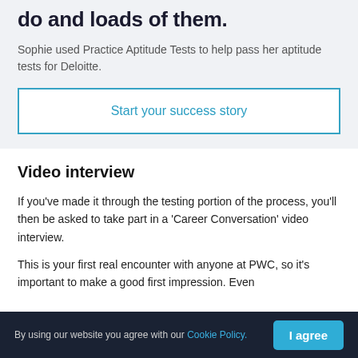do and loads of them.
Sophie used Practice Aptitude Tests to help pass her aptitude tests for Deloitte.
Start your success story
Video interview
If you’ve made it through the testing portion of the process, you’ll then be asked to take part in a ‘Career Conversation’ video interview.
This is your first real encounter with anyone at PWC, so it’s important to make a good first impression. Even
By using our website you agree with our Cookie Policy.
I agree